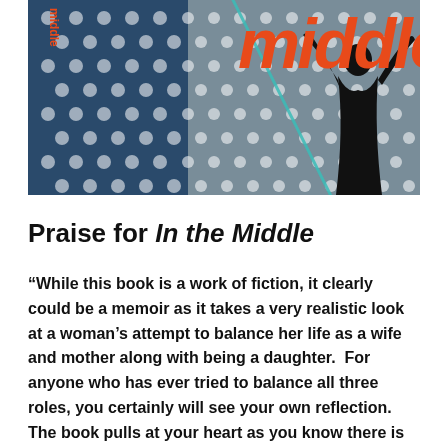[Figure (illustration): Book cover of 'In the Middle' showing the word 'middle' in large orange italic text at the top right, with a dark blue background covered in white polka dots, a teal diagonal line, and a black silhouette of a person with arms raised on the right side. The word 'middle' also appears vertically on the left spine.]
Praise for In the Middle
“While this book is a work of fiction, it clearly could be a memoir as it takes a very realistic look at a woman’s attempt to balance her life as a wife and mother along with being a daughter.  For anyone who has ever tried to balance all three roles, you certainly will see your own reflection. The book pulls at your heart as you know there is only one way for this